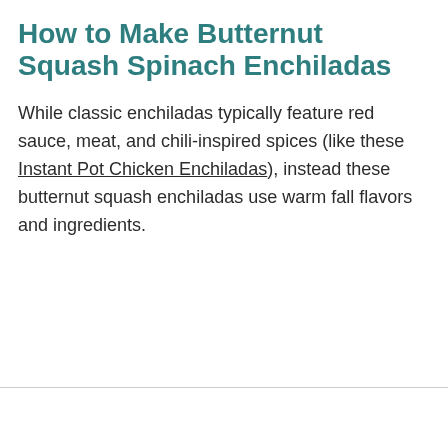How to Make Butternut Squash Spinach Enchiladas
While classic enchiladas typically feature red sauce, meat, and chili-inspired spices (like these Instant Pot Chicken Enchiladas), instead these butternut squash enchiladas use warm fall flavors and ingredients.